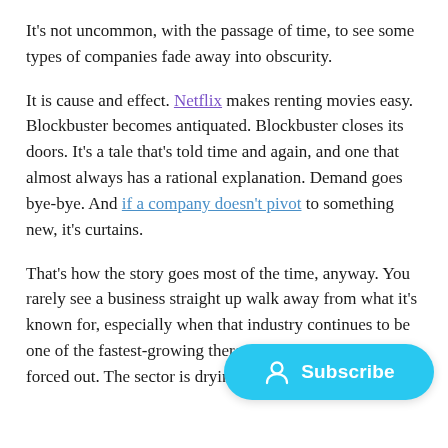It's not uncommon, with the passage of time, to see some types of companies fade away into obscurity.
It is cause and effect. Netflix makes renting movies easy. Blockbuster becomes antiquated. Blockbuster closes its doors. It's a tale that's told time and again, and one that almost always has a rational explanation. Demand goes bye-bye. And if a company doesn't pivot to something new, it's curtains.
That's how the story goes most of the time, anyway. You rarely see a business straight up walk away from what it's known for, especially when that industry continues to be one of the fastest-growing there is. They're not willingly forced out. The sector is drying up. They have
[Figure (other): A cyan/blue rounded pill-shaped Subscribe button with a user/person icon on the left and the text 'Subscribe' on the right, positioned in the lower-right area of the page.]